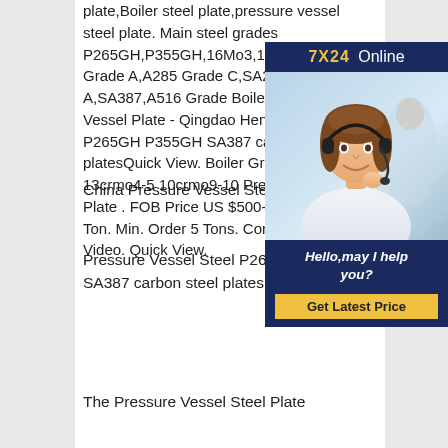plate,Boiler steel plate,pressure vessel steel plate. Main steel grades P265GH,P355GH,16Mo3,15Mo3,A204 Grade A,A285 Grade C,SA299 Grade A,SA387,A516 Grade Boiler&Pressure Vessel Steel Plate - Qingdao Hengze Steel Co. P265GH P355GH SA387 carbon steel platesQuick View. Boiler Grade B 13crmo4-5 10crmo9-10 Pressure Vessel Steel Plate . FOB Price US $500-/Ton. Min. Order 5 Tons. Contact Now Video. Quick View.
[Figure (photo): Chat support widget with a woman wearing a headset, dark navy background, '7X24 Online' header in yellow and white, 'Hello, may I help you?' message, and a yellow 'Get Latest Price' button]
China Pressure Vessel Steel Plate,
Pressure Vessel Steel P265GH P355GH SA387 carbon steel plates
The Pressure Vessel Steel Plate